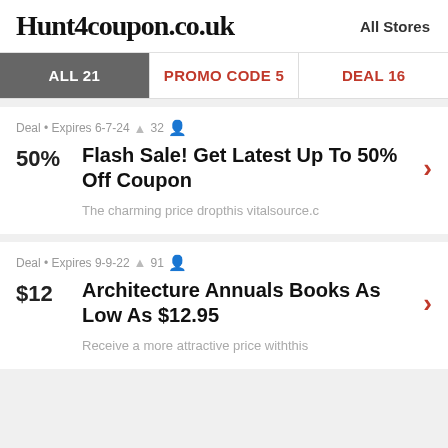Hunt4coupon.co.uk   All Stores
ALL 21   PROMO CODE 5   DEAL 16
Deal • Expires 6-7-24 🔔 32 👤
50%
Flash Sale! Get Latest Up To 50% Off Coupon
The charming price dropthis vitalsource.c
Deal • Expires 9-9-22 🔔 91 👤
$12
Architecture Annuals Books As Low As $12.95
Receive a more attractive price withthis